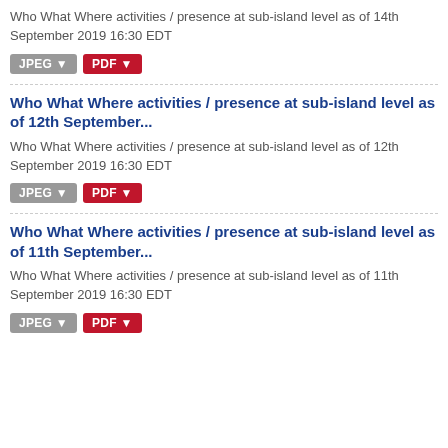Who What Where activities / presence at sub-island level as of 14th September 2019 16:30 EDT
JPEG  PDF
Who What Where activities / presence at sub-island level as of 12th September...
Who What Where activities / presence at sub-island level as of 12th September 2019 16:30 EDT
JPEG  PDF
Who What Where activities / presence at sub-island level as of 11th September...
Who What Where activities / presence at sub-island level as of 11th September 2019 16:30 EDT
JPEG  PDF